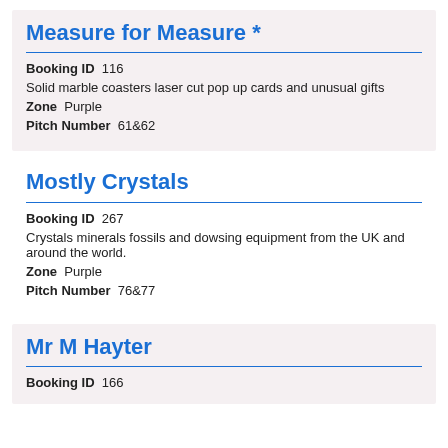Measure for Measure *
Booking ID  116
Solid marble coasters laser cut pop up cards and unusual gifts
Zone  Purple
Pitch Number  61&62
Mostly Crystals
Booking ID  267
Crystals minerals fossils and dowsing equipment from the UK and around the world.
Zone  Purple
Pitch Number  76&77
Mr M Hayter
Booking ID  166